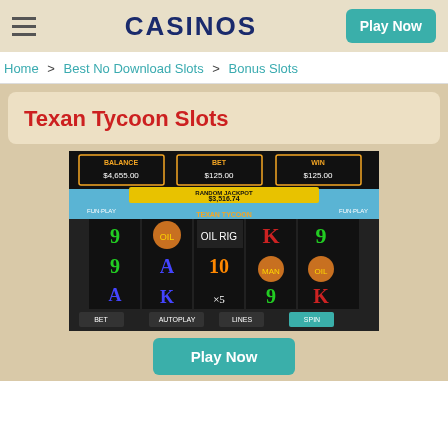CASINOS | Play Now
Home > Best No Download Slots > Bonus Slots
Texan Tycoon Slots
[Figure (screenshot): Screenshot of Texan Tycoon slot machine game showing reels with symbols including 9, A, K, 10, oil barrels, money bags and an oil worker. Displays Balance: $4,655.00, Bet: $125.00, Win: $125.00, Random Jackpot: $3,516.74]
Play Now